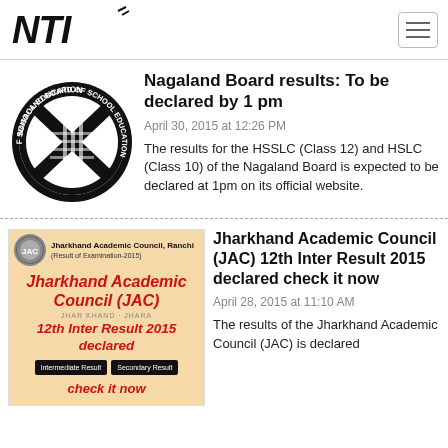NTI
[Figure (logo): Nagaland Board of School Education circular logo]
Nagaland Board results: To be declared by 1 pm
April 30, 2015 at 12:26 PM
The results for the HSSLC (Class 12) and HSLC (Class 10) of the Nagaland Board is expected to be declared at 1pm on its official website.
[Figure (screenshot): Jharkhand Academic Council (JAC) 12th Inter Result 2015 declared - check it now banner image with red text on peach background]
Jharkhand Academic Council (JAC) 12th Inter Result 2015 declared check it now
April 28, 2015 at 11:10 AM
The results of the Jharkhand Academic Council (JAC) is declared